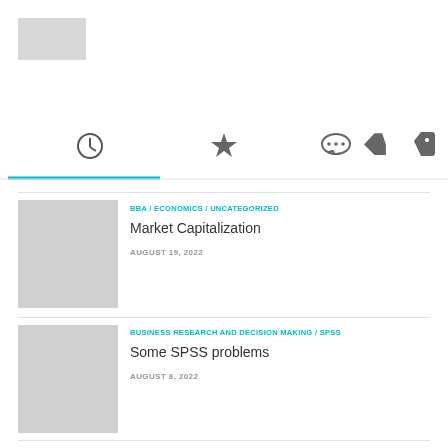[Figure (logo): Gray rectangle placeholder logo in top-left corner]
[Figure (other): Navigation tabs with icons: clock (recent), star (favorites), speech bubble (comments), tag (tags). Clock tab is active with teal underline.]
[Figure (other): Thumbnail placeholder image for Market Capitalization article]
BBA / ECONOMICS / UNCATEGORIZED
Market Capitalization
AUGUST 19, 2022
[Figure (other): Thumbnail placeholder image for Some SPSS problems article]
BUSINESS RESEARCH AND DECISION MAKING / SPSS
Some SPSS problems
AUGUST 8, 2022
[Figure (other): Thumbnail placeholder image for How to generate P-Value in SPSS? article]
BUSINESS RESEARCH AND DECISION MAKING / SPSS
How to generate P-Value in SPSS?
AUGUST 5, 2022